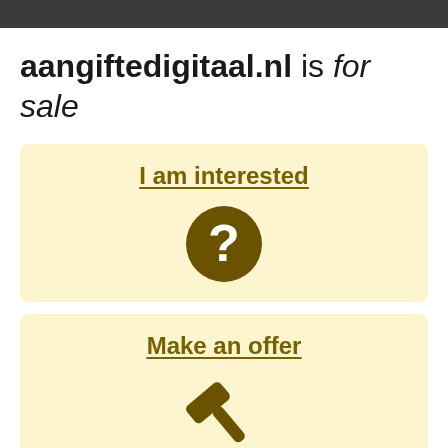aangiftedigitaal.nl is for sale
I am interested
[Figure (illustration): A dark olive/brown circle with a white question mark inside, representing an inquiry or information icon.]
Make an offer
[Figure (illustration): A dark olive/brown gavel (auction hammer) icon, angled diagonally, representing making an offer or auction.]